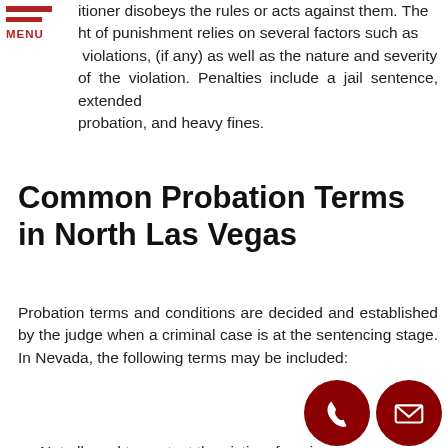itioner disobeys the rules or acts against them. The ht of punishment relies on several factors such as violations, (if any) as well as the nature and severity of the violation. Penalties include a jail sentence, extended probation, and heavy fines.
Common Probation Terms in North Las Vegas
Probation terms and conditions are decided and established by the judge when a criminal case is at the sentencing stage. In Nevada, the following terms may be included:
Not allowed to contact the victim of a crime;
A phone call or personal meeting with a probation officer regularly;
Banned from owning any weapon;
Drug testing;
Staying away from legal trouble during probation;
No leaving of jurisdiction especially without